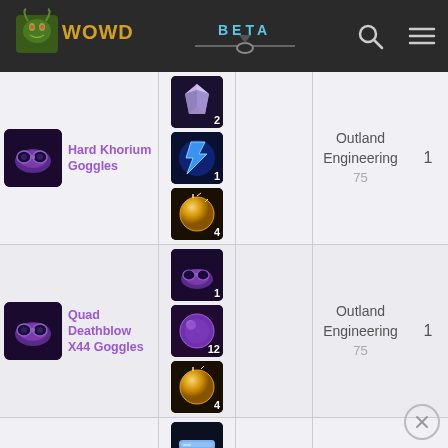WOWDB BETA
| Item | Reagents |  | Skill | Count |
| --- | --- | --- | --- | --- |
| Hard Khorium Goggles | [icon x2][icon x1][icon x4] |  | Outland Engineering 75 | 1 |
| Quad Deathblow X44 Goggles | [icon x1][icon x12][icon x4] |  | Outland Engineering 75 | 1 |
| Field Repair Bot 110G | [icon x8][icon x8][icon x1] |  | Outland Engineering 70 73 75 | 1 |